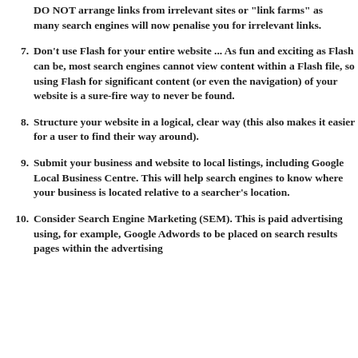DO NOT arrange links from irrelevant sites or "link farms" as many search engines will now penalise you for irrelevant links.
7. Don't use Flash for your entire website ... As fun and exciting as Flash can be, most search engines cannot view content within a Flash file, so using Flash for significant content (or even the navigation) of your website is a sure-fire way to never be found.
8. Structure your website in a logical, clear way (this also makes it easier for a user to find their way around).
9. Submit your business and website to local listings, including Google Local Business Centre. This will help search engines to know where your business is located relative to a searcher's location.
10. Consider Search Engine Marketing (SEM). This is paid advertising using, for example, Google Adwords to be placed on search results pages within the advertising